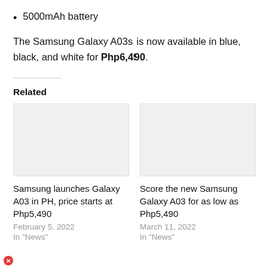5000mAh battery
The Samsung Galaxy A03s is now available in blue, black, and white for Php6,490.
Related
Samsung launches Galaxy A03 in PH, price starts at Php5,490
February 5, 2022
In "News"
Score the new Samsung Galaxy A03 for as low as Php5,490
March 11, 2022
In "News"